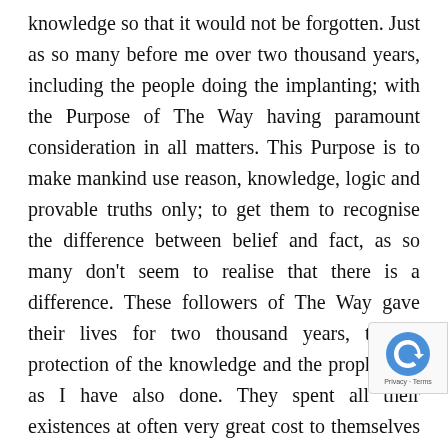knowledge so that it would not be forgotten. Just as so many before me over two thousand years, including the people doing the implanting; with the Purpose of The Way having paramount consideration in all matters. This Purpose is to make mankind use reason, knowledge, logic and provable truths only; to get them to recognise the difference between belief and fact, as so many don't seem to realise that there is a difference. These followers of The Way gave their lives for two thousand years, to the protection of the knowledge and the prophecies, as I have also done. They spent all their existences at often very great cost to themselves and their families, to protect the Purpose. They did it because they had a dream and carried the visions and words of those often long since dead. They were, and are, a simple set of dreams. They are also the impossible dreams another one-time friend has recently brought to attention: the visions and prophecies of members of the